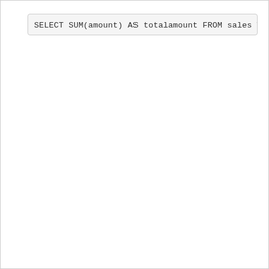SELECT SUM(amount) AS totalamount FROM sales WH